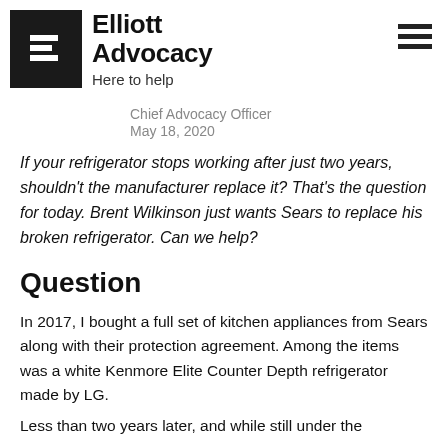[Figure (logo): Elliott Advocacy logo: black shield with white E symbol, and bold text 'Elliott Advocacy' with tagline 'Here to help']
Chief Advocacy Officer
May 18, 2020
If your refrigerator stops working after just two years, shouldn't the manufacturer replace it? That's the question for today. Brent Wilkinson just wants Sears to replace his broken refrigerator. Can we help?
Question
In 2017, I bought a full set of kitchen appliances from Sears along with their protection agreement. Among the items was a white Kenmore Elite Counter Depth refrigerator made by LG.
Less than two years later, and while still under the